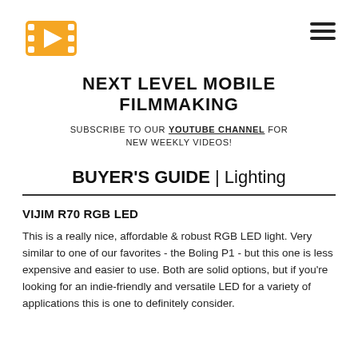[Figure (logo): Film strip / play button logo icon in orange/amber color]
NEXT LEVEL MOBILE FILMMAKING
SUBSCRIBE TO OUR YOUTUBE CHANNEL FOR NEW WEEKLY VIDEOS!
BUYER'S GUIDE | Lighting
VIJIM R70 RGB LED
This is a really nice, affordable & robust RGB LED light. Very similar to one of our favorites - the Boling P1 - but this one is less expensive and easier to use. Both are solid options, but if you're looking for an indie-friendly and versatile LED for a variety of applications this is one to definitely consider.